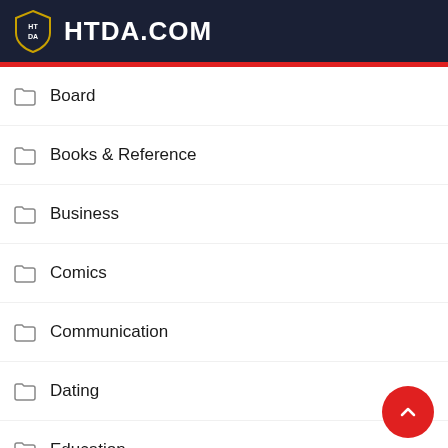HTDA.COM
Board
Books & Reference
Business
Comics
Communication
Dating
Education
Entertainment
Events
Finance
Health & Fit...